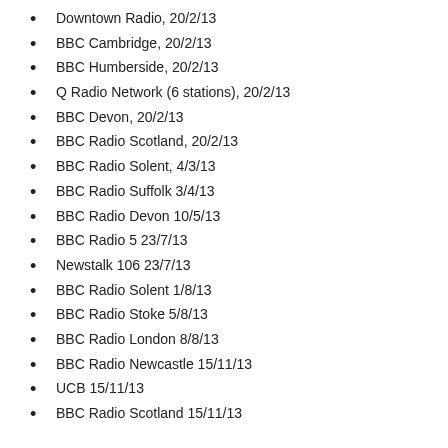Downtown Radio, 20/2/13
BBC Cambridge, 20/2/13
BBC Humberside, 20/2/13
Q Radio Network (6 stations), 20/2/13
BBC Devon, 20/2/13
BBC Radio Scotland, 20/2/13
BBC Radio Solent, 4/3/13
BBC Radio Suffolk 3/4/13
BBC Radio Devon 10/5/13
BBC Radio 5 23/7/13
Newstalk 106 23/7/13
BBC Radio Solent 1/8/13
BBC Radio Stoke 5/8/13
BBC Radio London 8/8/13
BBC Radio Newcastle 15/11/13
UCB 15/11/13
BBC Radio Scotland 15/11/13